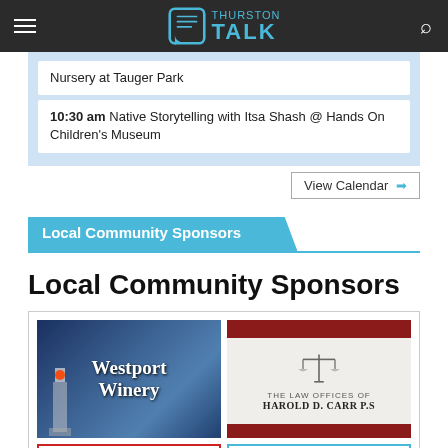Thurston Talk
Nursery at Tauger Park
10:30 am Native Storytelling with Itsa Shash @ Hands On Children's Museum
View Calendar →
Local Community Sponsors
Local Community Sponsors
[Figure (logo): Westport Winery sponsor advertisement with lighthouse image and white serif text]
[Figure (logo): The Law Offices of Harold D. Carr P.S. advertisement with scales of justice icon and dark red border bars]
[Figure (logo): Sponsor ad bottom left with red border and small image]
[Figure (logo): Sponsor ad bottom right with teal/cyan border]